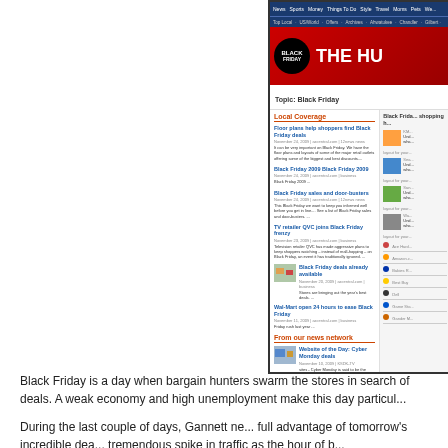[Figure (screenshot): Screenshot of a newspaper website showing a 'Black Friday' themed portal with navigation bars, a red banner with Black Friday logo and 'THE HU[NT]' title, local coverage articles about Black Friday deals, and a sidebar with shopping resources.]
Black Friday is a day when bargain hunters swarm the stores in search of deals. A weak economy and high unemployment make this day particularly...
During the last couple of days, Gannett news sites have been helping readers take full advantage of tomorrow's incredible deals. These sites have also been seeing a tremendous spike in traffic as the hour of b...
The Black Friday portals include something...